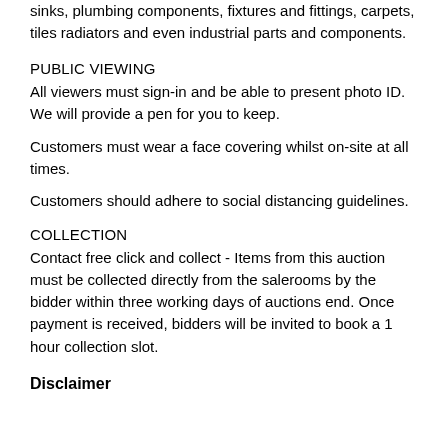sinks, plumbing components, fixtures and fittings, carpets, tiles radiators and even industrial parts and components.
PUBLIC VIEWING
All viewers must sign-in and be able to present photo ID. We will provide a pen for you to keep.
Customers must wear a face covering whilst on-site at all times.
Customers should adhere to social distancing guidelines.
COLLECTION
Contact free click and collect - Items from this auction must be collected directly from the salerooms by the bidder within three working days of auctions end. Once payment is received, bidders will be invited to book a 1 hour collection slot.
Disclaimer